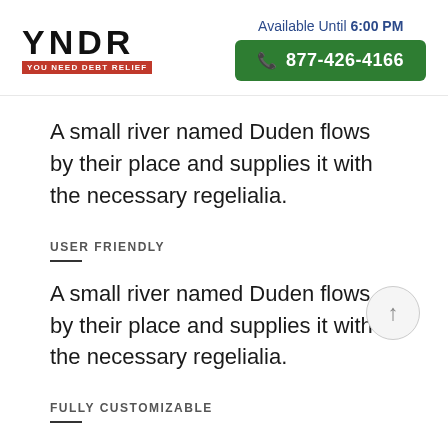[Figure (logo): YNDR logo with red banner reading YOU NEED DEBT RELIEF]
Available Until 6:00 PM
877-426-4166
A small river named Duden flows by their place and supplies it with the necessary regelialia.
USER FRIENDLY
A small river named Duden flows by their place and supplies it with the necessary regelialia.
FULLY CUSTOMIZABLE